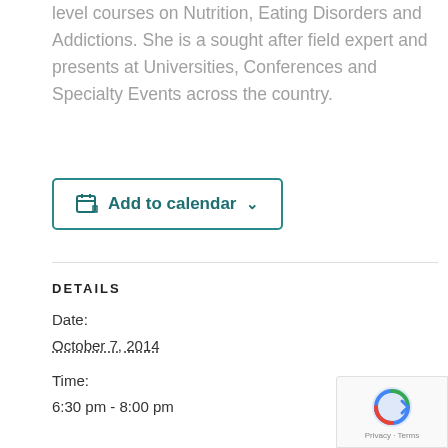level courses on Nutrition, Eating Disorders and Addictions. She is a sought after field expert and presents at Universities, Conferences and Specialty Events across the country.
[Figure (other): Add to calendar button with calendar icon and dropdown chevron, teal border and text]
DETAILS
Date:
October 7, 2014
Time:
6:30 pm - 8:00 pm
[Figure (other): Google reCAPTCHA badge with logo and Privacy - Terms text]